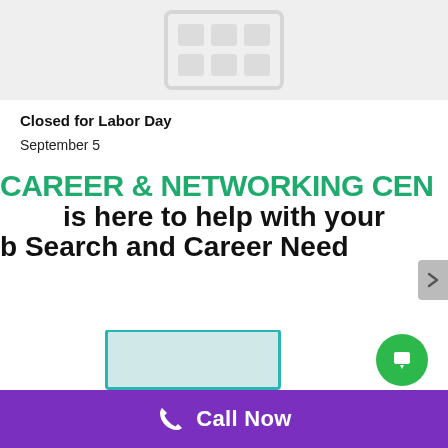[Figure (other): Gray placeholder image area with a grid/table icon in the center]
Closed for Labor Day
September 5
[Figure (infographic): Banner text reading 'CAREER & NETWORKING CEN...' in green bold, then 'is here to help with your' and 'ob Search and Career Need...' in black bold]
[Figure (screenshot): Partial thumbnail image with teal border and a green circular icon]
Call Now